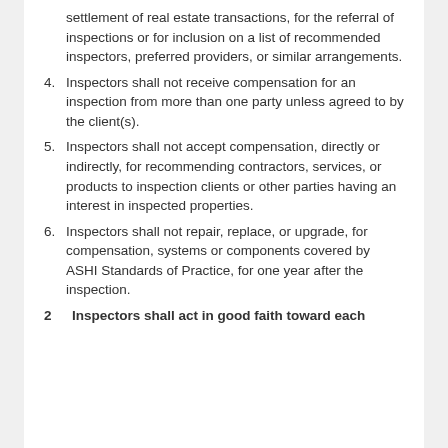settlement of real estate transactions, for the referral of inspections or for inclusion on a list of recommended inspectors, preferred providers, or similar arrangements.
4. Inspectors shall not receive compensation for an inspection from more than one party unless agreed to by the client(s).
5. Inspectors shall not accept compensation, directly or indirectly, for recommending contractors, services, or products to inspection clients or other parties having an interest in inspected properties.
6. Inspectors shall not repair, replace, or upgrade, for compensation, systems or components covered by ASHI Standards of Practice, for one year after the inspection.
2. Inspectors shall act in good faith toward each